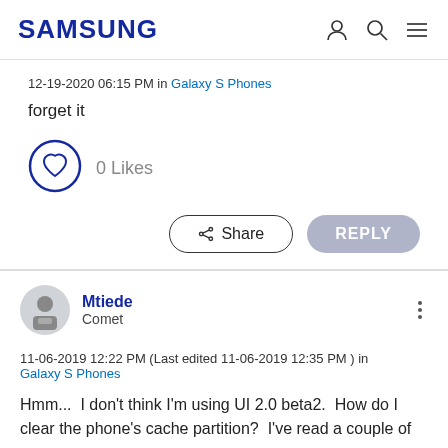SAMSUNG
12-19-2020 06:15 PM in Galaxy S Phones
forget it
0 Likes
Share
REPLY
Mtiede
Comet
11-06-2019 12:22 PM (Last edited 11-06-2019 12:35 PM ) in Galaxy S Phones
Hmm...  I don't think I'm using UI 2.0 beta2.  How do I clear the phone's cache partition?  I've read a couple of